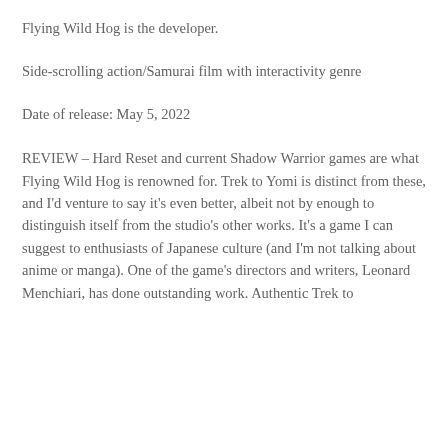Flying Wild Hog is the developer.
Side-scrolling action/Samurai film with interactivity genre
Date of release: May 5, 2022
REVIEW – Hard Reset and current Shadow Warrior games are what Flying Wild Hog is renowned for. Trek to Yomi is distinct from these, and I'd venture to say it's even better, albeit not by enough to distinguish itself from the studio's other works. It's a game I can suggest to enthusiasts of Japanese culture (and I'm not talking about anime or manga). One of the game's directors and writers, Leonard Menchiari, has done outstanding work. Authentic Trek to